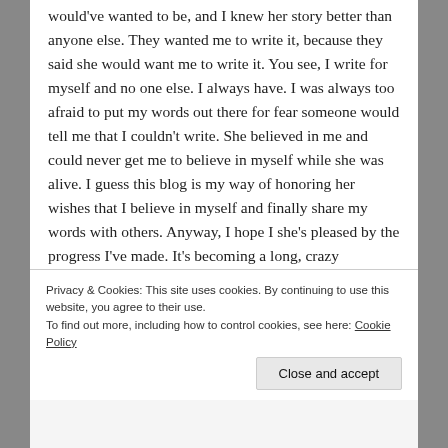would've wanted to be, and I knew her story better than anyone else. They wanted me to write it, because they said she would want me to write it. You see, I write for myself and no one else. I always have. I was always too afraid to put my words out there for fear someone would tell me that I couldn't write. She believed in me and could never get me to believe in myself while she was alive. I guess this blog is my way of honoring her wishes that I believe in myself and finally share my words with others. Anyway, I hope I she's pleased by the progress I've made. It's becoming a long, crazy journey...that's for sure.
Privacy & Cookies: This site uses cookies. By continuing to use this website, you agree to their use. To find out more, including how to control cookies, see here: Cookie Policy
Close and accept